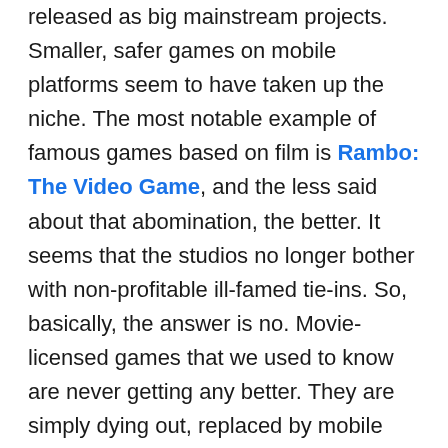released as big mainstream projects. Smaller, safer games on mobile platforms seem to have taken up the niche. The most notable example of famous games based on film is Rambo: The Video Game, and the less said about that abomination, the better. It seems that the studios no longer bother with non-profitable ill-famed tie-ins. So, basically, the answer is no. Movie-licensed games that we used to know are never getting any better. They are simply dying out, replaced by mobile movie-themed apps, Facebook posts and Twitter feedback. They are like factory workers who are no longer needed after automation.
But there's no reason to despair, if you're into